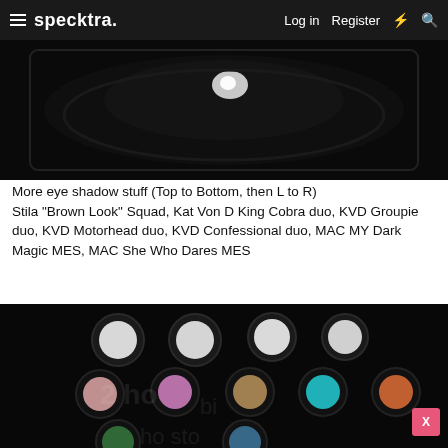specktra.   Log in   Register
[Figure (photo): Dark photo of eye shadow compacts, top portion showing black palette/container with a light reflection]
More eye shadow stuff (Top to Bottom, then L to R) Stila "Brown Look" Squad, Kat Von D King Cobra duo, KVD Groupie duo, KVD Motorhead duo, KVD Confessional duo, MAC MY Dark Magic MES, MAC She Who Dares MES
[Figure (photo): Dark photo showing multiple small round eye shadow pots arranged in rows: top row has white/light shades, middle row has metallic colored shades (pink, brown/gold, teal, copper), bottom row partially visible]